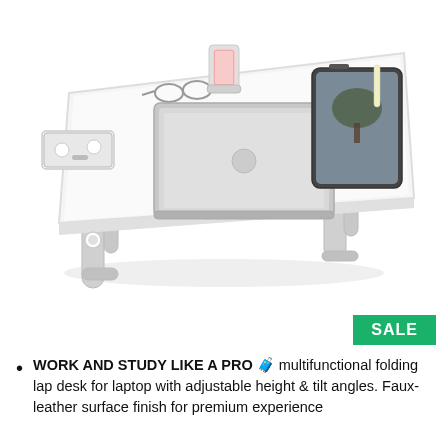[Figure (photo): Product photo of a white adjustable folding laptop lap desk with height and tilt adjustment, featuring a sliding drawer on the left, phone holder at the top, a laptop in the center, and a tablet on the right side. The desk has H-shaped legs and a faux-leather surface.]
SALE
WORK AND STUDY LIKE A PRO 💼 multifunctional folding lap desk for laptop with adjustable height & tilt angles. Faux-leather surface finish for premium experience